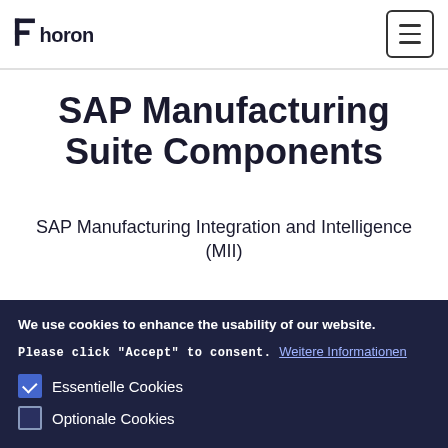phoron [logo] | hamburger menu
SAP Manufacturing Suite Components
SAP Manufacturing Integration and Intelligence (MII)
We use cookies to enhance the usability of our website. Please click "Accept" to consent. Weitere Informationen
Essentielle Cookies (checked)
Optionale Cookies (unchecked)